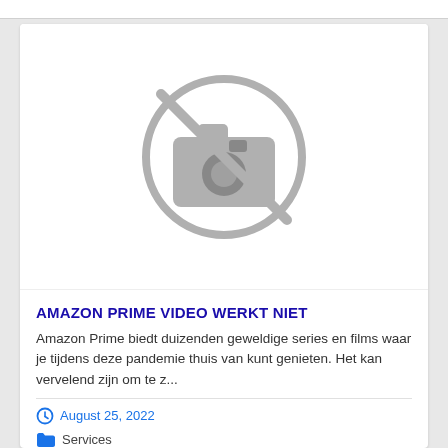[Figure (illustration): No-image placeholder icon: a camera with a diagonal line through it inside a circle, rendered in grey]
AMAZON PRIME VIDEO WERKT NIET
Amazon Prime biedt duizenden geweldige series en films waar je tijdens deze pandemie thuis van kunt genieten. Het kan vervelend zijn om te z...
August 25, 2022
Services